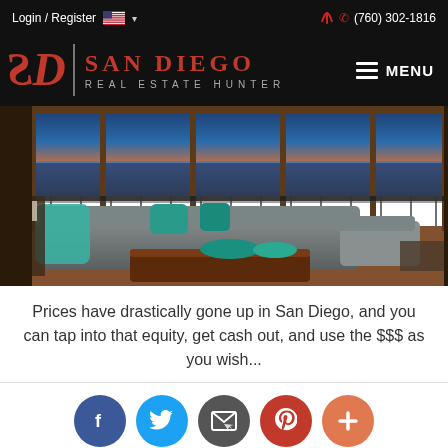Login / Register  🇺🇸 ▾   (760) 302-1816
San Diego Real Estate Hunter
[Figure (photo): Interior of a luxury oceanfront condo with large floor-to-ceiling windows overlooking the ocean at sunset, featuring a large sectional gray sofa with teal accent pillows, wooden coffee table with teal decorative bowls, and dining area in the background.]
Prices have drastically gone up in San Diego, and you can tap into that equity, get cash out, and use the $$$ as you wish...
[Figure (infographic): Social sharing buttons row: Facebook (blue), Twitter (light blue), Email (dark gray), Pinterest (red), Plus/More (orange-red)]